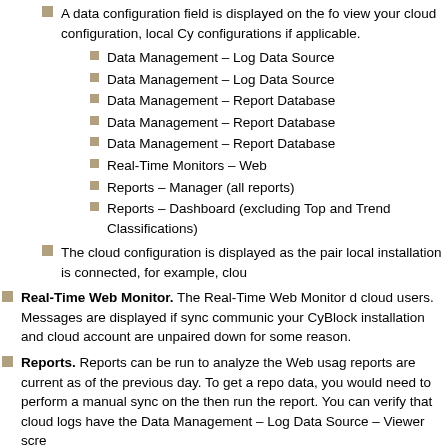A data configuration field is displayed on the fo view your cloud configuration, local Cy configurations if applicable.
Data Management – Log Data Source
Data Management – Log Data Source
Data Management – Report Database
Data Management – Report Database
Data Management – Report Database
Real-Time Monitors – Web
Reports – Manager (all reports)
Reports – Dashboard (excluding Top and Trend Classifications)
The cloud configuration is displayed as the pair local installation is connected, for example, clou
Real-Time Web Monitor. The Real-Time Web Monitor d cloud users. Messages are displayed if sync communic your CyBlock installation and cloud account are unpaired down for some reason.
Reports. Reports can be run to analyze the Web usag reports are current as of the previous day. To get a repo data, you would need to perform a manual sync on the then run the report. You can verify that cloud logs have the Data Management – Log Data Source – Viewer scre